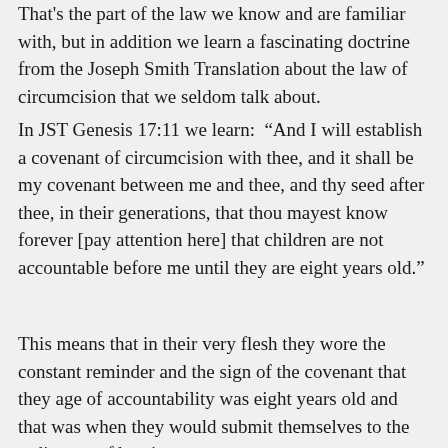That's the part of the law we know and are familiar with, but in addition we learn a fascinating doctrine from the Joseph Smith Translation about the law of circumcision that we seldom talk about.
In JST Genesis 17:11 we learn: “And I will establish a covenant of circumcision with thee, and it shall be my covenant between me and thee, and thy seed after thee, in their generations, that thou mayest know forever [pay attention here] that children are not accountable before me until they are eight years old.”
This means that in their very flesh they wore the constant reminder and the sign of the covenant that they age of accountability was eight years old and that was when they would submit themselves to the ordinance of baptism.